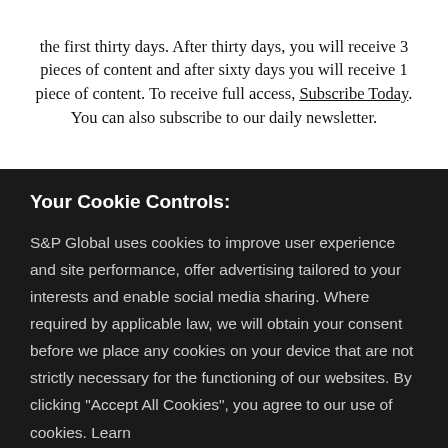the first thirty days. After thirty days, you will receive 3 pieces of content and after sixty days you will receive 1 piece of content. To receive full access, Subscribe Today. You can also subscribe to our daily newsletter.
Your Cookie Controls:
S&P Global uses cookies to improve user experience and site performance, offer advertising tailored to your interests and enable social media sharing. Where required by applicable law, we will obtain your consent before we place any cookies on your device that are not strictly necessary for the functioning of our websites. By clicking "Accept All Cookies", you agree to our use of cookies. Learn